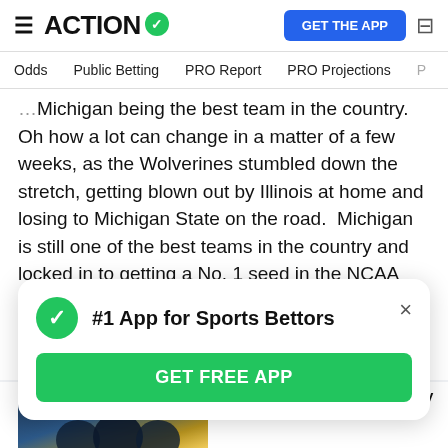ACTION — GET THE APP
Odds | Public Betting | PRO Report | PRO Projections
Michigan being the best team in the country. Oh how a lot can change in a matter of a few weeks, as the Wolverines stumbled down the stretch, getting blown out by Illinois at home and losing to Michigan State on the road. Michigan is still one of the best teams in the country and locked in to getting a No. 1 seed in the NCAA Tournament, but Juwan Howard's men need to play a lot better if Michigan is going to be a title contender.
[Figure (photo): Photo of basketball players celebrating with confetti]
Every Team That Can Actually
#1 App for Sports Bettors
GET FREE APP